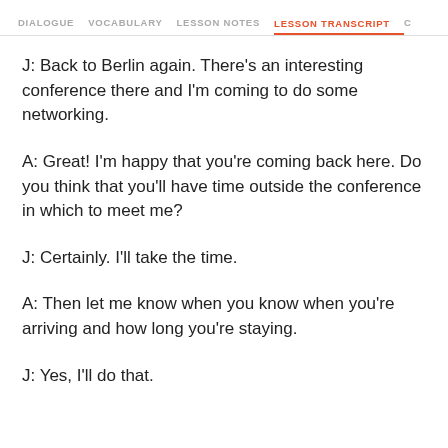DIALOGUE   VOCABULARY   LESSON NOTES   LESSON TRANSCRIPT   C
J: Back to Berlin again. There's an interesting conference there and I'm coming to do some networking.
A: Great! I'm happy that you're coming back here. Do you think that you'll have time outside the conference in which to meet me?
J: Certainly. I'll take the time.
A: Then let me know when you know when you're arriving and how long you're staying.
J: Yes, I'll do that.